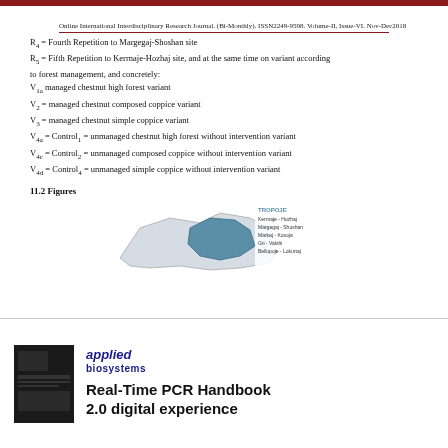Online International Interdisciplinary Research Journal. (Bi-Monthly). ISSN2249-9598. Volume-II, Issue-VI. Nov-Dec2018
R4 = Fourth Repetition to Margegaj-Shoshan site
R5 = Fifth Repetition to Kerrnaje-Hozhaj site, and at the same time on variant according to forest management, and concretely:
V1a managed chestnut high forest variant
V2 = managed chestnut composed coppice variant
V3 = managed chestnut simple coppice variant
V4a = Control1 = unmanaged chestnut high forest without intervention variant
V4c = Control2 = unmanaged composed coppice without intervention variant
V4d = Control4 = unmanaged simple coppice without intervention variant
11.2 Figures
[Figure (map): Map of Tropoje region showing locations: Kerrnaje-Hozhaj, Margegaj-Shoshan, Markaj-Kosoja, Gri-Valshi, Bellopoje-Lokurtaj]
[Figure (other): Advertisement: Applied Biosystems - Real-Time PCR Handbook 2.0 digital experience]